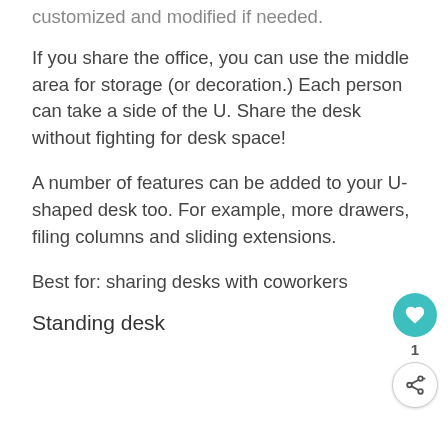customized and modified if needed.
If you share the office, you can use the middle area for storage (or decoration.) Each person can take a side of the U. Share the desk without fighting for desk space!
A number of features can be added to your U-shaped desk too. For example, more drawers, filing columns and sliding extensions.
Best for: sharing desks with coworkers
Standing desk